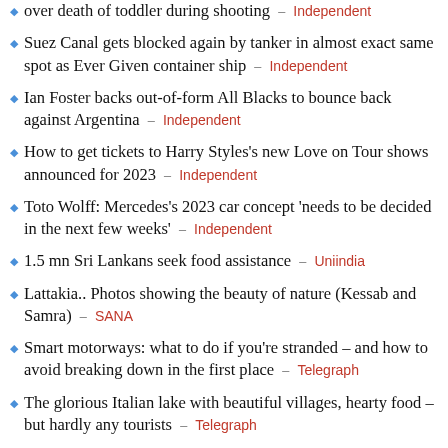over death of toddler during shooting – Independent
Suez Canal gets blocked again by tanker in almost exact same spot as Ever Given container ship – Independent
Ian Foster backs out-of-form All Blacks to bounce back against Argentina – Independent
How to get tickets to Harry Styles's new Love on Tour shows announced for 2023 – Independent
Toto Wolff: Mercedes's 2023 car concept 'needs to be decided in the next few weeks' – Independent
1.5 mn Sri Lankans seek food assistance – Uniindia
Lattakia.. Photos showing the beauty of nature (Kessab and Samra) – SANA
Smart motorways: what to do if you're stranded – and how to avoid breaking down in the first place – Telegraph
The glorious Italian lake with beautiful villages, hearty food – but hardly any tourists – Telegraph
Vladimir Putin will not attend Mikhail Gorbachev's funeral,